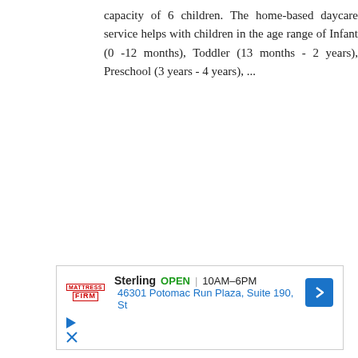capacity of 6 children. The home-based daycare service helps with children in the age range of Infant (0 -12 months), Toddler (13 months - 2 years), Preschool (3 years - 4 years), ...
[Figure (other): Advertisement for Mattress Firm store in Sterling. Shows store name, OPEN status, hours 10AM-6PM, address 46301 Potomac Run Plaza, Suite 190, St, with a blue navigation arrow button, play button icon, and close (X) icon.]